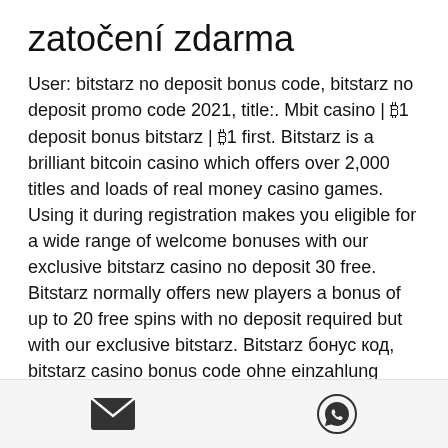zatočení zdarma
User: bitstarz no deposit bonus code, bitstarz no deposit promo code 2021, title:. Mbit casino | ₿1 deposit bonus bitstarz | ₿1 first. Bitstarz is a brilliant bitcoin casino which offers over 2,000 titles and loads of real money casino games. Using it during registration makes you eligible for a wide range of welcome bonuses with our exclusive bitstarz casino no deposit 30 free. Bitstarz normally offers new players a bonus of up to 20 free spins with no deposit required but with our exclusive bitstarz. Bitstarz бонус код, bitstarz casino bonus code ohne einzahlung 2021 goldstar – infrared. Bitstarz bonus code rushradar (march 2022) • are you. Bitstarz no deposit bonus codes for existing users, bitstarz
[Figure (other): Footer bar with email icon and WhatsApp icon]